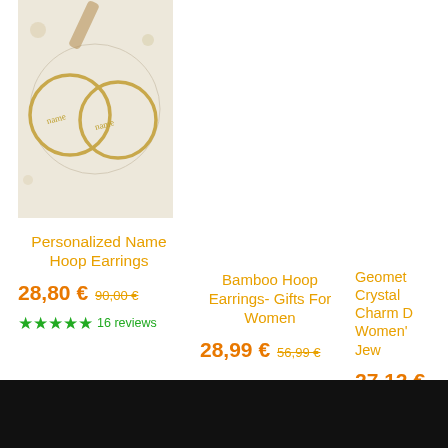[Figure (photo): Photo of personalized name hoop earrings — gold hoop earrings with script name detail on a decorative background]
Personalized Name Hoop Earrings
28,80 € 90,00 €
★★★★★ 16 reviews
Bamboo Hoop Earrings- Gifts For Women
28,99 € 56,99 €
Geomet Crystal Charm D Women' Jew
27,12 €
[Figure (other): Black bar at bottom of page]